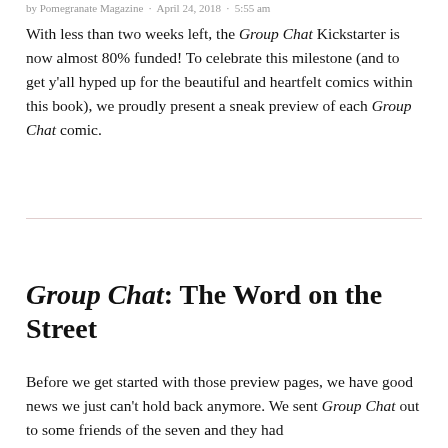by Pomegranate Magazine · April 24, 2018 · 5:55 am
With less than two weeks left, the Group Chat Kickstarter is now almost 80% funded! To celebrate this milestone (and to get y'all hyped up for the beautiful and heartfelt comics within this book), we proudly present a sneak preview of each Group Chat comic.
Group Chat: The Word on the Street
Before we get started with those preview pages, we have good news we just can't hold back anymore. We sent Group Chat out to some friends of the seven and they had